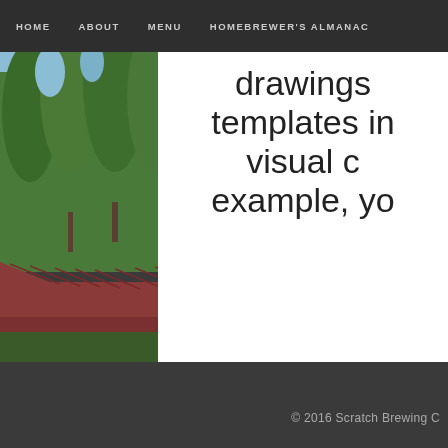HOME   ABOUT   MENU   HOMEBREWER'S ALMANAC
[Figure (photo): Exterior photo of a building with a red metal roof surrounded by tall green trees against a blue sky]
drawings templates in visual c example, yo
© 2016 Scratch Brewing C